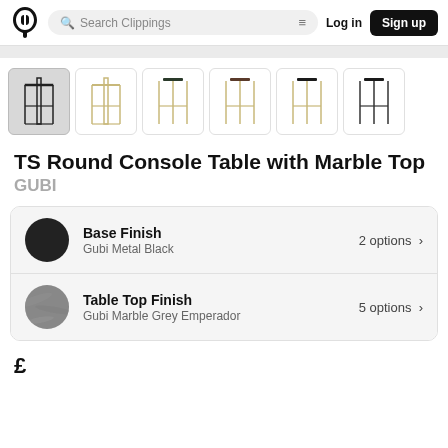Search Clippings | Log in | Sign up
[Figure (photo): Row of 6 console table product thumbnails, first one selected/active with gray background]
TS Round Console Table with Marble Top
GUBI
Base Finish
Gubi Metal Black
2 options >
Table Top Finish
Gubi Marble Grey Emperador
5 options >
£